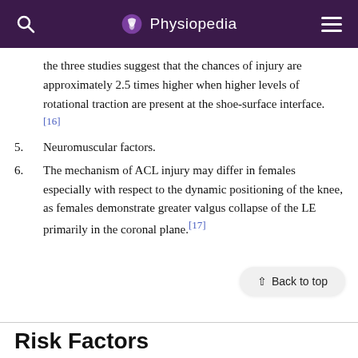Physiopedia
the three studies suggest that the chances of injury are approximately 2.5 times higher when higher levels of rotational traction are present at the shoe-surface interface. [16]
5. Neuromuscular factors.
6. The mechanism of ACL injury may differ in females especially with respect to the dynamic positioning of the knee, as females demonstrate greater valgus collapse of the LE primarily in the coronal plane.[17]
Risk Factors